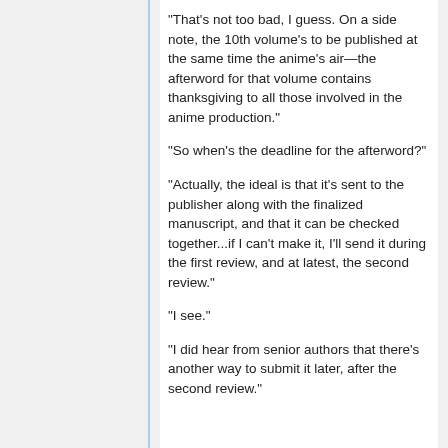“That’s not too bad, I guess. On a side note, the 10th volume’s to be published at the same time the anime’s air—the afterword for that volume contains thanksgiving to all those involved in the anime production.”
“So when’s the deadline for the afterword?”
“Actually, the ideal is that it’s sent to the publisher along with the finalized manuscript, and that it can be checked together...if I can’t make it, I’ll send it during the first review, and at latest, the second review.”
“I see.”
“I did hear from senior authors that there’s another way to submit it later, after the second review.”